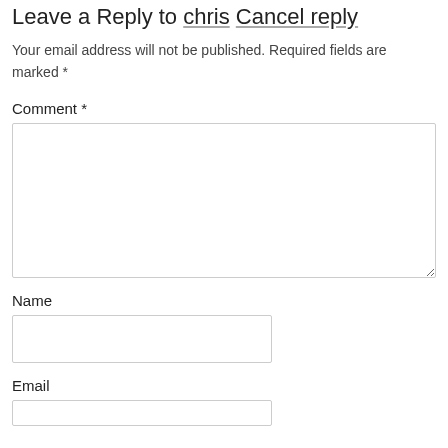Leave a Reply to chris Cancel reply
Your email address will not be published. Required fields are marked *
Comment *
Name
Email